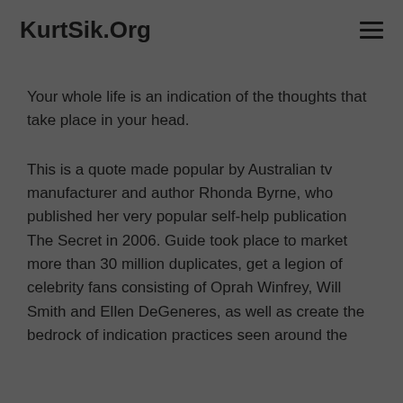KurtSik.Org
Your whole life is an indication of the thoughts that take place in your head.
This is a quote made popular by Australian tv manufacturer and author Rhonda Byrne, who published her very popular self-help publication The Secret in 2006. Guide took place to market more than 30 million duplicates, get a legion of celebrity fans consisting of Oprah Winfrey, Will Smith and Ellen DeGeneres, as well as create the bedrock of indication practices seen around the